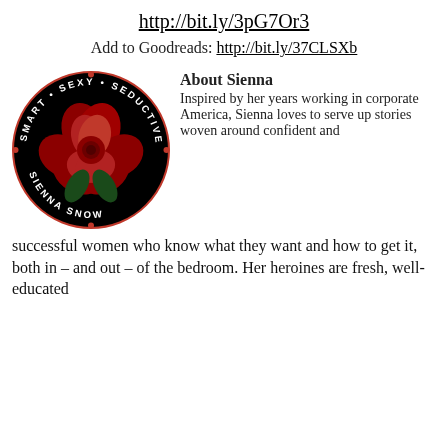http://bit.ly/3pG7Or3
Add to Goodreads: http://bit.ly/37CLSXb
[Figure (logo): Sienna Snow author logo: black circle with red rose in center, text around the rim reading SMART SEXY SEDUCTIVE around top and SIENNA SNOW around bottom]
About Sienna
Inspired by her years working in corporate America, Sienna loves to serve up stories woven around confident and successful women who know what they want and how to get it, both in – and out – of the bedroom. Her heroines are fresh, well-educated...